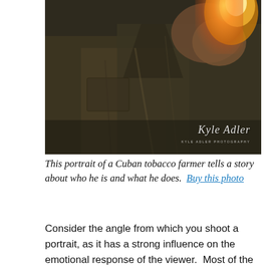[Figure (photo): Close-up portrait of a Cuban tobacco farmer, showing his torso in a button-up shirt with a flame or lighter visible near the top right, implying he is lighting a cigar. A cursive watermark signature 'Kyle Adler' is visible in the lower right of the image along with small text 'KYLE ADLER PHOTOGRAPHY'.]
This portrait of a Cuban tobacco farmer tells a story about who he is and what he does.  Buy this photo
Consider the angle from which you shoot a portrait, as it has a strong influence on the emotional response of the viewer.  Most of the time you want to shoot a head shot or head...